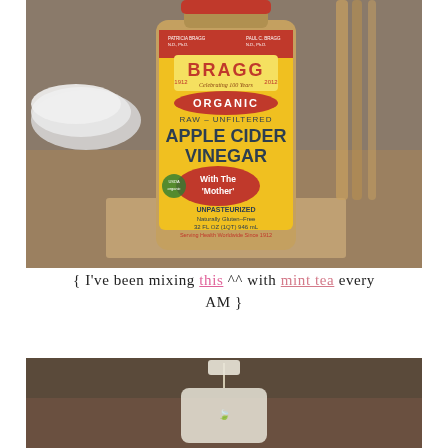[Figure (photo): A bottle of Bragg Organic Raw Unfiltered Apple Cider Vinegar with The Mother, 32 FL OZ, placed on a wooden surface with white bowls and utensils in the background.]
{ I've been mixing this ^^ with mint tea every AM }
[Figure (photo): Close-up blurred photo of a mint tea bag on a dark background.]